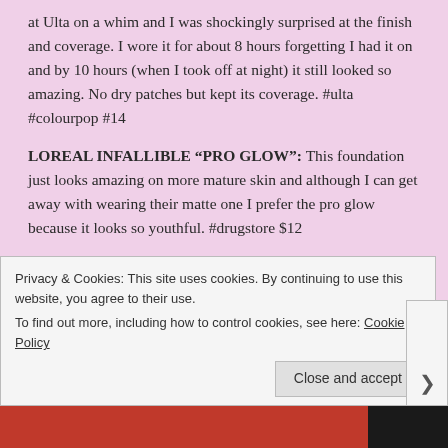at Ulta on a whim and I was shockingly surprised at the finish and coverage. I wore it for about 8 hours forgetting I had it on and by 10 hours (when I took off at night) it still looked so amazing. No dry patches but kept its coverage. #ulta #colourpop #14
LOREAL INFALLIBLE “PRO GLOW”: This foundation just looks amazing on more mature skin and although I can get away with wearing their matte one I prefer the pro glow because it looks so youthful. #drugstore $12
NYX BORN TO GLOW: It took me awhile to try this one as I thought it was for the younger generation but absolutely
Privacy & Cookies: This site uses cookies. By continuing to use this website, you agree to their use.
To find out more, including how to control cookies, see here: Cookie Policy
Close and accept